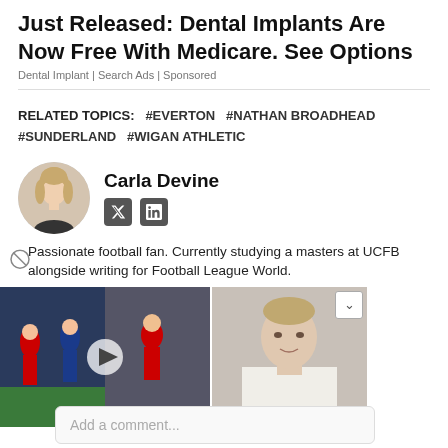Just Released: Dental Implants Are Now Free With Medicare. See Options
Dental Implant | Search Ads | Sponsored
RELATED TOPICS:   #EVERTON   #NATHAN BROADHEAD   #SUNDERLAND   #WIGAN ATHLETIC
Carla Devine
Passionate football fan. Currently studying a masters at UCFB alongside writing for Football League World.
[Figure (photo): Author headshot of Carla Devine in circular crop]
[Figure (photo): Video thumbnail showing football match players, with play button overlay]
[Figure (photo): Portrait thumbnail of a man in white shirt]
Add a comment...